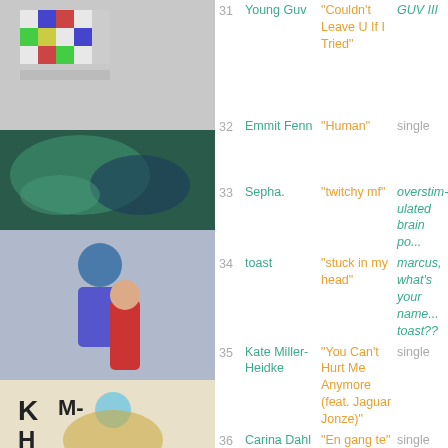[Figure (photo): Album art collage - top: colorful pixel/grid pattern album art; middle: abstract green/blue art; lower-middle: blue and purple figure sculpture with red-robed person; lower: K M-H yellow dress artist photo; bottom: Carna Dahl neon heart album art]
31 Young Guv | "Couldn't Leave U If I Tried" | GUV III
32 Emmit Fenn | "Human" | single
33 Sepha. | "twitchy mf" | overstimulated brain po...
34 toast | "stuck in my head" | marcus, what's your name... toast??
35 Kate Miller-Heidke | "You Can't Hurt Me Anymore (feat. Jaguar Jonze)" | single
36 Carina Dahl | "En gang te" | single
37 Alter Ego | "Jammer" | Skree Ne...